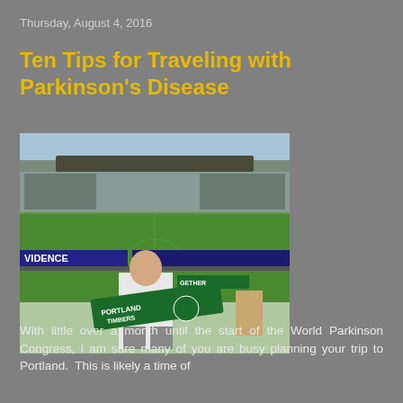Thursday, August 4, 2016
Ten Tips for Traveling with Parkinson's Disease
[Figure (photo): A man standing on the sidelines of a soccer stadium holding a Portland Timbers scarf. The Providence Park stadium is visible in the background with stands full of spectators and a green soccer field.]
With little over a month until the start of the World Parkinson Congress, I am sure many of you are busy planning your trip to Portland. This is likely a time of